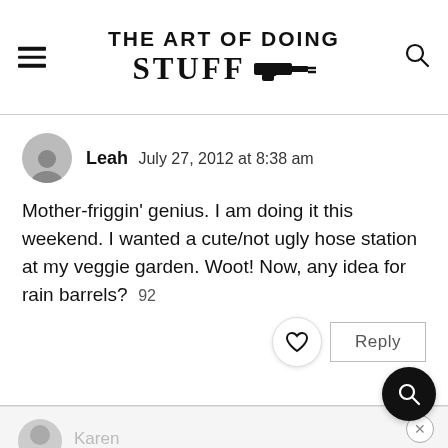THE ART OF DOING STUFF
Leah  July 27, 2012 at 8:38 am
Mother-friggin' genius. I am doing it this weekend. I wanted a cute/not ugly hose station at my veggie garden. Woot! Now, any idea for rain barrels?  92
Reply
Karen